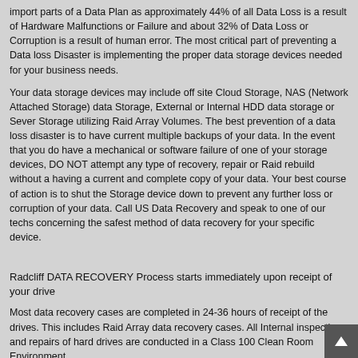import parts of a Data Plan as approximately 44% of all Data Loss is a result of Hardware Malfunctions or Failure and about 32% of Data Loss or Corruption is a result of human error. The most critical part of preventing a Data loss Disaster is implementing the proper data storage devices needed for your business needs.
Your data storage devices may include off site Cloud Storage, NAS (Network Attached Storage) data Storage, External or Internal HDD data storage or Sever Storage utilizing Raid Array Volumes. The best prevention of a data loss disaster is to have current multiple backups of your data. In the event that you do have a mechanical or software failure of one of your storage devices, DO NOT attempt any type of recovery, repair or Raid rebuild without a having a current and complete copy of your data. Your best course of action is to shut the Storage device down to prevent any further loss or corruption of your data. Call US Data Recovery and speak to one of our techs concerning the safest method of data recovery for your specific device.
Radcliff DATA RECOVERY Process starts immediately upon receipt of your drive
Most data recovery cases are completed in 24-36 hours of receipt of the drives. This includes Raid Array data recovery cases. All Internal inspections and repairs of hard drives are conducted in a Class 100 Clean Room Environment.